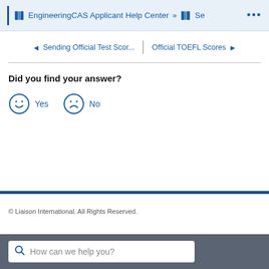EngineeringCAS Applicant Help Center » Se ...
◄ Sending Official Test Scor... | Official TOEFL Scores ►
Did you find your answer?
😊 Yes   ☹ No
© Liaison International. All Rights Reserved.
How can we help you?